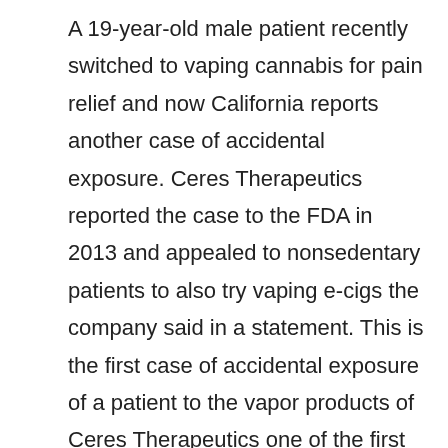A 19-year-old male patient recently switched to vaping cannabis for pain relief and now California reports another case of accidental exposure. Ceres Therapeutics reported the case to the FDA in 2013 and appealed to nonsedentary patients to also try vaping e-cigs the company said in a statement. This is the first case of accidental exposure of a patient to the vapor products of Ceres Therapeutics one of the first companies to market an EpidioID vaporizer and a long-distance medical device to treat gastric cancer without medical necessity the FDA said. According to the statement the patient and his family were both told to stop vaping and go hunting for medical marijuana products. A report published in The